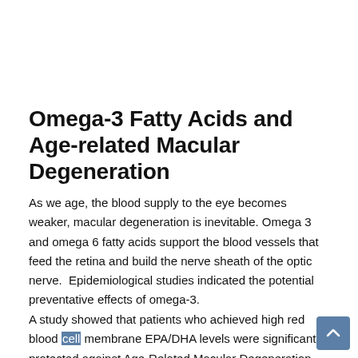Omega-3 Fatty Acids and Age-related Macular Degeneration
As we age, the blood supply to the eye becomes weaker, macular degeneration is inevitable. Omega 3 and omega 6 fatty acids support the blood vessels that feed the retina and build the nerve sheath of the optic nerve.  Epidemiological studies indicated the potential preventative effects of omega-3.
A study showed that patients who achieved high red blood cell membrane EPA/DHA levels were significantly protected against Age-Related Macular Degeneration (AMD) compared